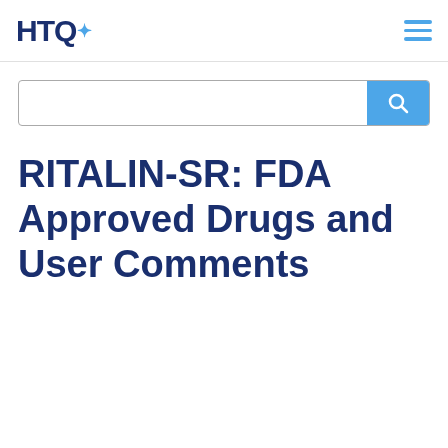HTQ+
[Figure (other): Search bar with blue search button and magnifying glass icon]
RITALIN-SR: FDA Approved Drugs and User Comments